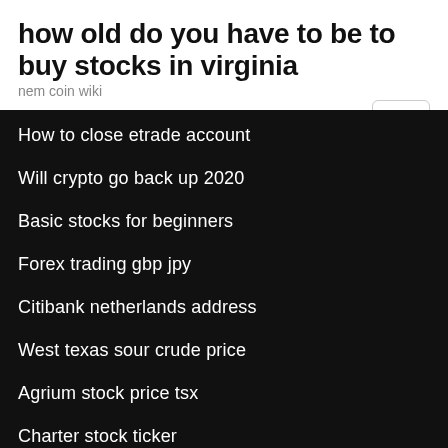how old do you have to be to buy stocks in virginia
nem coin wiki
How to close etrade account
Will crypto go back up 2020
Basic stocks for beginners
Forex trading gbp jpy
Citibank netherlands address
West texas sour crude price
Agrium stock price tsx
Charter stock ticker